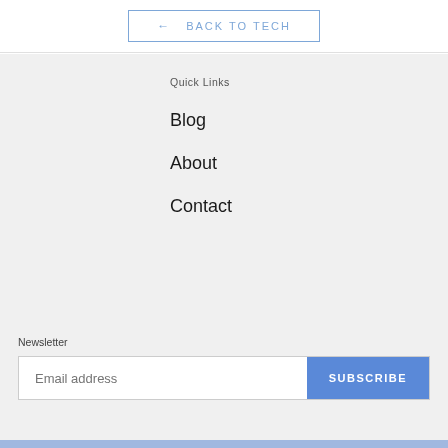← BACK TO TECH
Quick Links
Blog
About
Contact
Newsletter
Email address  SUBSCRIBE